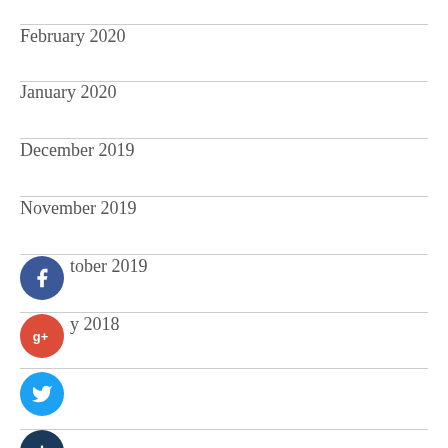February 2020
January 2020
December 2019
November 2019
October 2019
January 2018
[Figure (illustration): Social media sharing icons: Facebook (blue circle with f), Google+ (red circle with g+), Twitter (light blue circle with bird), dark blue circle with plus sign]